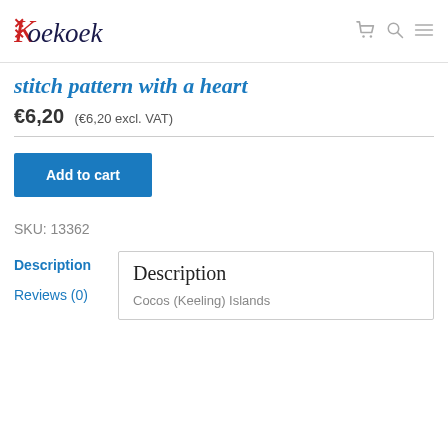Koekoek — navigation icons: cart, search, menu
stitch pattern with a heart
€6,20 (€6,20 excl. VAT)
Add to cart
SKU: 13362
Description
Reviews (0)
Description
Cocos (Keeling) Islands